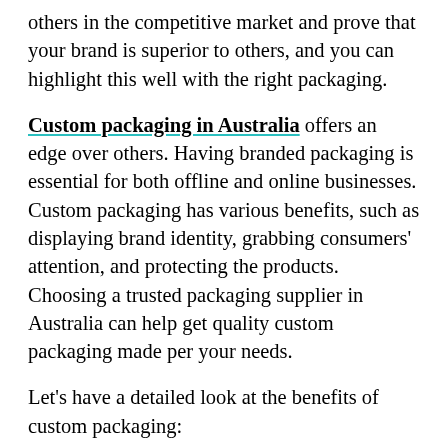others in the competitive market and prove that your brand is superior to others, and you can highlight this well with the right packaging.
Custom packaging in Australia offers an edge over others. Having branded packaging is essential for both offline and online businesses. Custom packaging has various benefits, such as displaying brand identity, grabbing consumers' attention, and protecting the products. Choosing a trusted packaging supplier in Australia can help get quality custom packaging made per your needs.
Let's have a detailed look at the benefits of custom packaging:
Protection of products